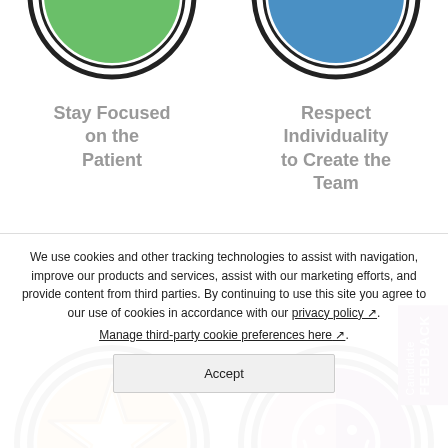[Figure (illustration): Partial circular icon (green/teal) cropped at top left]
Stay Focused on the Patient
[Figure (illustration): Partial circular icon (blue) cropped at top right]
Respect Individuality to Create the Team
[Figure (illustration): Orange circular badge with white star outline icon]
[Figure (illustration): Circular badge split pink/purple with white smiley face icon]
Candidate FEEDBACK
We use cookies and other tracking technologies to assist with navigation, improve our products and services, assist with our marketing efforts, and provide content from third parties. By continuing to use this site you agree to our use of cookies in accordance with our privacy policy. Manage third-party cookie preferences here.
Accept